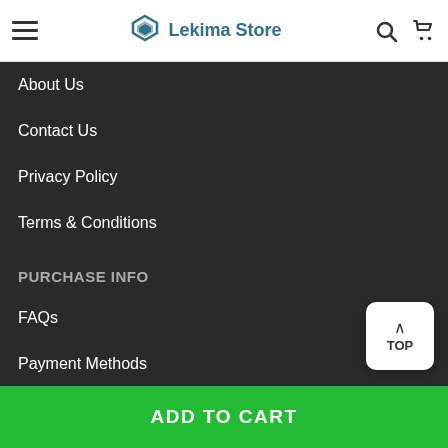Lekima Store
About Us
Contact Us
Privacy Policy
Terms & Conditions
PURCHASE INFO
FAQs
Payment Methods
Shipping & Delivery
Returns Policy
TOP
ADD TO CART